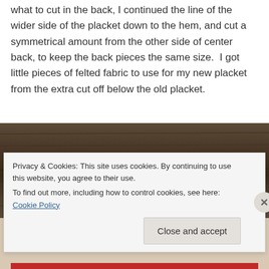what to cut in the back, I continued the line of the wider side of the placket down to the hem, and cut a symmetrical amount from the other side of center back, to keep the back pieces the same size.  I got little pieces of felted fabric to use for my new placket from the extra cut off below the old placket.
[Figure (photo): Photo of a wooden surface with a small bundle of yarn or fiber resting on it, dark brown wood grain visible.]
Privacy & Cookies: This site uses cookies. By continuing to use this website, you agree to their use.
To find out more, including how to control cookies, see here: Cookie Policy
Close and accept